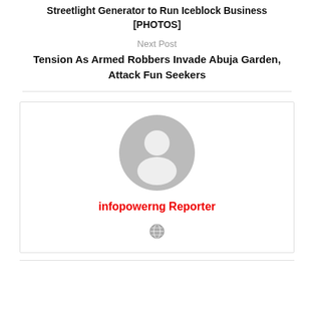Streetlight Generator to Run Iceblock Business [PHOTOS]
Next Post
Tension As Armed Robbers Invade Abuja Garden, Attack Fun Seekers
[Figure (illustration): Author card with gray default avatar icon, author name 'infopowerng Reporter' in red, and a globe/website icon below]
infopowerng Reporter